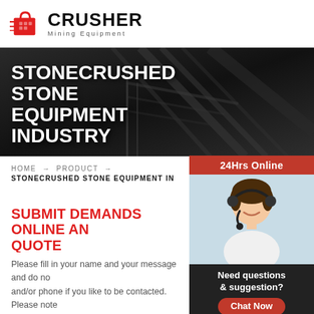[Figure (logo): Crusher Mining Equipment logo with red shopping bag icon and bold CRUSHER text]
[Figure (photo): Dark industrial hero banner with large mining/crusher equipment silhouette in background]
STONECRUSHED STONE EQUIPMENT INDUSTRY
HOME → PRODUCT → STONECRUSHED STONE EQUIPMENT IN
SUBMIT DEMANDS ONLINE AND GET A QUOTE
Please fill in your name and your message and do not forget mail and/or phone if you like to be contacted. Please note that you need to have a mail programme to use this function.
[Figure (photo): 24Hrs Online sidebar with customer service representative wearing headset, smiling]
Need questions & suggestion?
Chat Now
Enquiry
limingjlmofen@sina.com